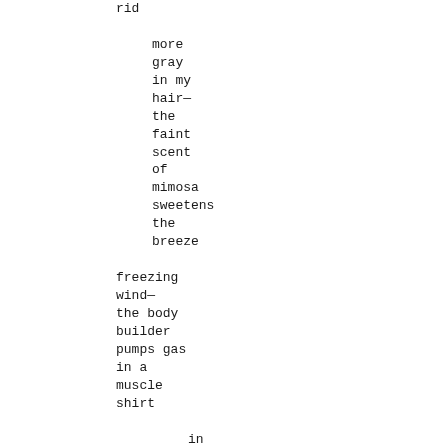rid

        more
        gray
        in my
        hair—
        the
        faint
        scent
        of
        mimosa
        sweetens
        the
        breeze

freezing
wind—
the body
builder
pumps gas
in a
muscle
shirt

        in